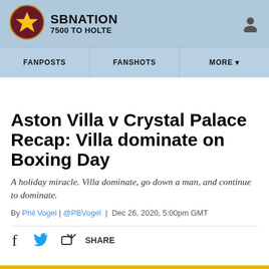SB NATION — 7500 TO HOLTE
[Figure (logo): SBNation / 7500 To Holte logo — circular badge with maroon and gold Aston Villa crest]
FANPOSTS   FANSHOTS   MORE
Aston Villa v Crystal Palace Recap: Villa dominate on Boxing Day
A holiday miracle. Villa dominate, go down a man, and continue to dominate.
By Phil Vogel | @PBVogel | Dec 26, 2020, 5:00pm GMT